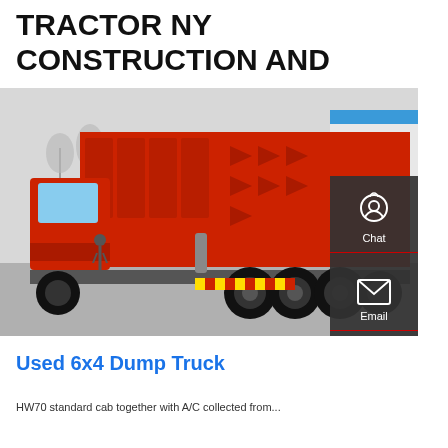TRACTOR NY CONSTRUCTION AND
[Figure (photo): Red 6x4 dump truck photographed from the rear-side angle in an industrial yard. The truck has a large red dump body with decorative raised panels, dual rear axles with large tires, and yellow/red reflective chevron markings on the rear bumper. A building with a blue roof is visible in the background, along with bare trees and a person walking.]
Used 6x4 Dump Truck
HW70 standard cab together with A/C collected from...